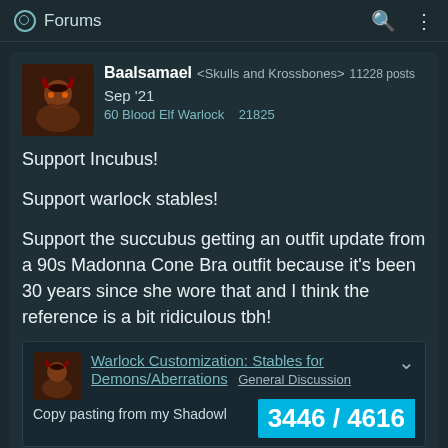Forums
Baalsamael <Skulls and Krossbones> 11228 posts Sep '21
60 Blood Elf Warlock 21825
Support Incubus!

Support warlock stables!

Support the succubus getting an outfit update from a 90s Madonna Cone Bra outfit because it's been 30 years since she wore that and I think the reference is a bit ridiculous tbh!
Warlock Customization: Stables for Demons/Aberrations General Discussion
Copy pasting from my Shadowl
3446 / 4616